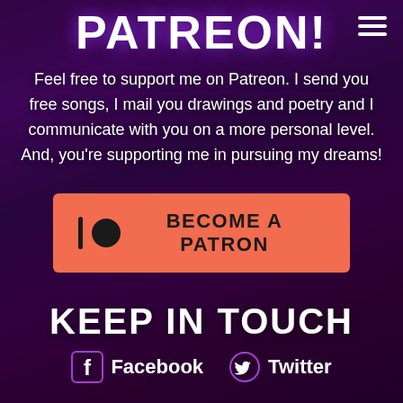PATREON!
Feel free to support me on Patreon. I send you free songs, I mail you drawings and poetry and I communicate with you on a more personal level. And, you're supporting me in pursuing my dreams!
[Figure (other): Orange 'Become a Patron' button with Patreon logo (vertical bar and circle) in dark color]
KEEP IN TOUCH
Facebook  Twitter